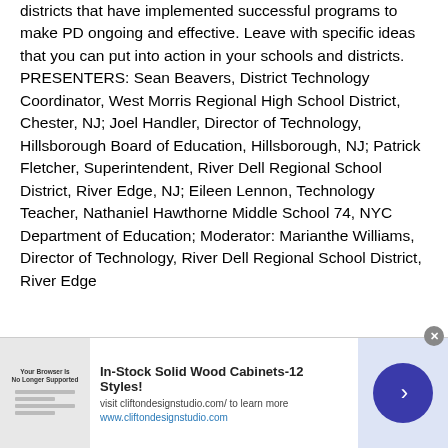districts that have implemented successful programs to make PD ongoing and effective. Leave with specific ideas that you can put into action in your schools and districts. PRESENTERS: Sean Beavers, District Technology Coordinator, West Morris Regional High School District, Chester, NJ; Joel Handler, Director of Technology, Hillsborough Board of Education, Hillsborough, NJ; Patrick Fletcher, Superintendent, River Dell Regional School District, River Edge, NJ; Eileen Lennon, Technology Teacher, Nathaniel Hawthorne Middle School 74, NYC Department of Education; Moderator: Marianthe Williams, Director of Technology, River Dell Regional School District, River Edge
Building a PD Library of Best Practices for Technology